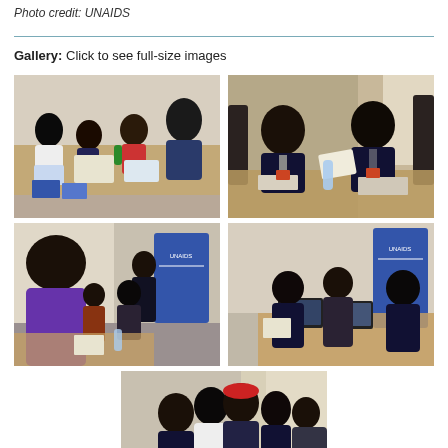Photo credit: UNAIDS
Gallery: Click to see full-size images
[Figure (photo): Group of people seated around a table working on documents in a meeting or workshop setting]
[Figure (photo): Two men in suits seated at a table, one holding papers, in a formal meeting setting]
[Figure (photo): Person presenting in front of a UNAIDS banner while others are seated and watching]
[Figure (photo): People seated at a table working on laptops in front of a UNAIDS banner]
[Figure (photo): Group of people huddled together in discussion, some standing, in a room]